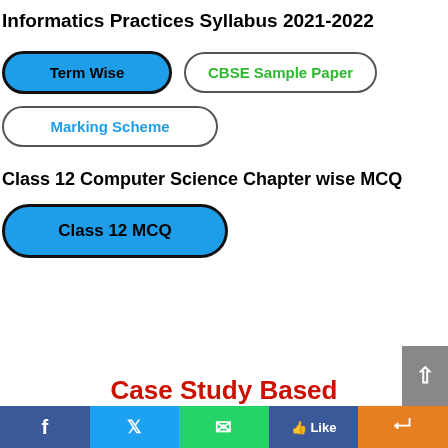Informatics Practices Syllabus 2021-2022
[Figure (infographic): Three pill-shaped buttons: 'Term Wise' (blue filled, black border), 'CBSE Sample Paper' (white filled, grey border, green text), 'Marking Scheme' (white filled, grey border, blue text)]
Class 12 Computer Science Chapter wise MCQ
[Figure (infographic): Pill-shaped button: 'Class 12 MCQ' with blue background and black border]
Case Study Based
[Figure (infographic): Social sharing bar at bottom with Facebook, Twitter, WhatsApp, Like, and Share buttons]